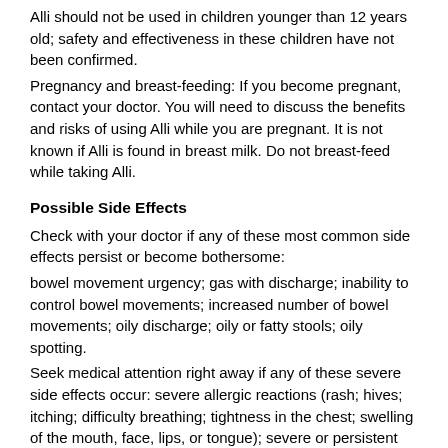Alli should not be used in children younger than 12 years old; safety and effectiveness in these children have not been confirmed. Pregnancy and breast-feeding: If you become pregnant, contact your doctor. You will need to discuss the benefits and risks of using Alli while you are pregnant. It is not known if Alli is found in breast milk. Do not breast-feed while taking Alli.
Possible Side Effects
Check with your doctor if any of these most common side effects persist or become bothersome: bowel movement urgency; gas with discharge; inability to control bowel movements; increased number of bowel movements; oily discharge; oily or fatty stools; oily spotting. Seek medical attention right away if any of these severe side effects occur: severe allergic reactions (rash; hives; itching; difficulty breathing; tightness in the chest; swelling of the mouth, face, lips, or tongue); severe or persistent stomach pain.
More Information
Many individuals really need help with their dieting and Alli can make them the whole process a lot easier, since alli is not just a diet pill, it's actually a weight loss program, a plan to follow, a way to learn how to eat healthy and how to do healthy things for their body, to feel and function better. The one thing that Alli does very well is that it teaches you how to start eating low-fat